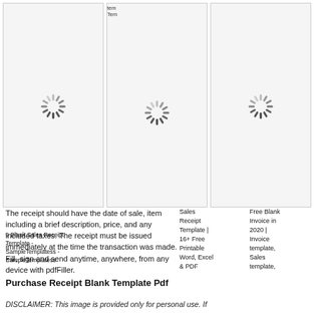[Figure (screenshot): Three image placeholder cards in a row, each showing a loading spinner icon and partial text labels for sales receipt templates]
The receipt should have the date of sale, item including a brief description, price, and any included taxes. The receipt must be issued immediately at the time the transaction was made. Fill, sign and send anytime, anywhere, from any device with pdfFiller.
Sales
Receipt
Template |
16+ Free
Printable
Word, Excel
& PDF
Free Blank
Invoice in
2020 |
Invoice
template,
Sales
template,
Purchase Receipt Blank Template Pdf
DISCLAIMER: This image is provided only for personal use. If